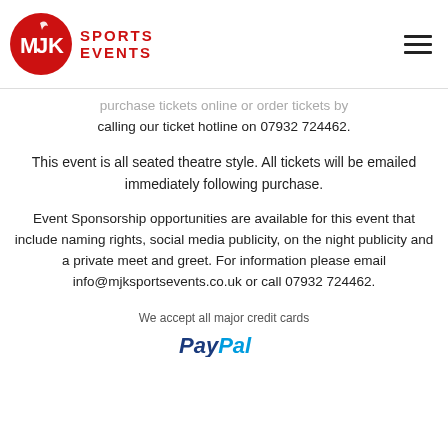[Figure (logo): MJK Sports Events logo: red circle with MJK text in white and a flame/wing icon, beside red text 'SPORTS EVENTS']
purchase tickets online or order tickets by calling our ticket hotline on 07932 724462.
This event is all seated theatre style. All tickets will be emailed immediately following purchase.
Event Sponsorship opportunities are available for this event that include naming rights, social media publicity, on the night publicity and a private meet and greet. For information please email info@mjksportsevents.co.uk or call 07932 724462.
We accept all major credit cards
[Figure (logo): PayPal logo in blue and dark blue italic text]